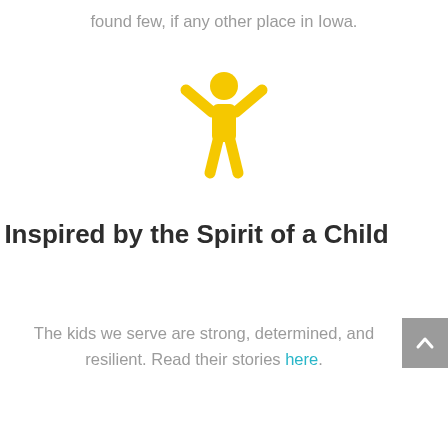found few, if any other place in Iowa.
[Figure (illustration): Yellow stick figure icon of a child with arms raised upward in a celebratory pose]
Inspired by the Spirit of a Child
The kids we serve are strong, determined, and resilient. Read their stories here.